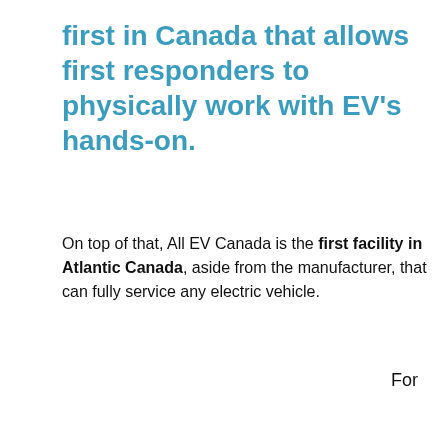first in Canada that allows first responders to physically work with EV's hands-on.
On top of that, All EV Canada is the first facility in Atlantic Canada, aside from the manufacturer, that can fully service any electric vehicle.
For